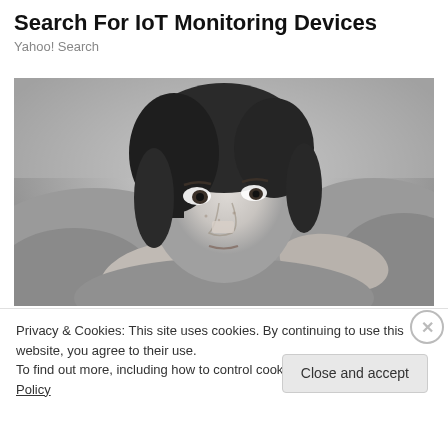Search For IoT Monitoring Devices
Yahoo! Search
[Figure (photo): Black and white close-up portrait of a young woman lying down with hands near her face, looking directly at the camera with a melancholic expression.]
Privacy & Cookies: This site uses cookies. By continuing to use this website, you agree to their use.
To find out more, including how to control cookies, see here: Cookie Policy
Close and accept